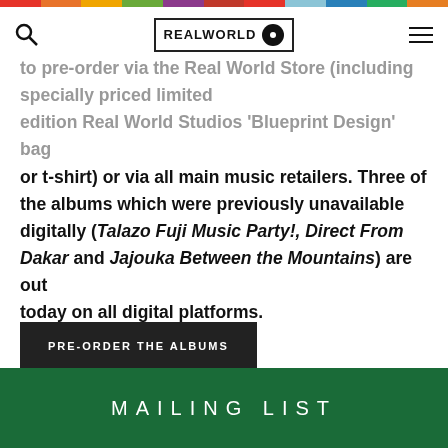Real World Records navigation header with logo
to pre-order via the Real World Store (including specially priced limited edition Real World Studios ‘Blueprint Design’ bag or t-shirt) or via all main music retailers. Three of the albums which were previously unavailable digitally (Talazo Fuji Music Party!, Direct From Dakar and Jajouka Between the Mountains) are out today on all digital platforms.
PRE-ORDER THE ALBUMS
MAILING LIST